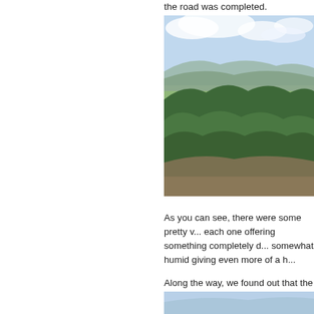the road was completed.
[Figure (photo): Scenic overlook photograph showing forested hillside with lush green trees and ferns in foreground, rolling green valley and distant mountain ridges in background under partly cloudy sky.]
As you can see, there were some pretty v... each one offering something completely d... somewhat humid giving even more of a h...
Along the way, we found out that the Pisg... Forestry in the United States. George Va... south of Asheville, the vast majority of it fo... young forester by the name of Gifford Pi... timber harvested off their family land was... reforestation of cut land timber. Vanderbi... were made for wood used on the estate a...
[Figure (photo): Partial view of another scenic photograph at the bottom of the page, showing sky and landscape.]